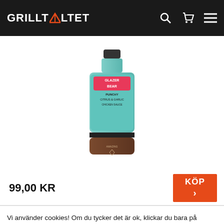GRILLTALTET
[Figure (photo): Product bottle: Glazer Bear Punchy Citrus & Garlic chicken sauce, teal and brown bottle]
99,00 KR
KÖP ›
Vi använder cookies! Om du tycker det är ok, klickar du bara på "Acceptera alla". Du kan såklart välja vilken typ av cookies du vill ha genom att klicka på "Inställningar".
inställningar   Avvisa   Acceptera alla